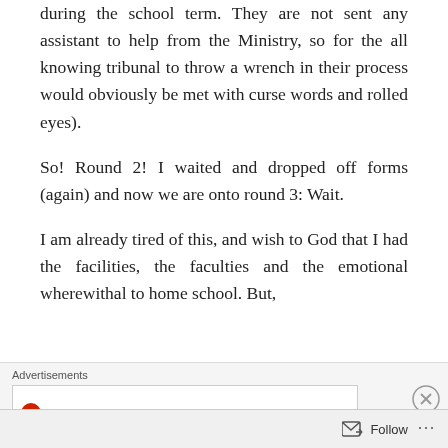during the school term. They are not sent any assistant to help from the Ministry, so for the all knowing tribunal to throw a wrench in their process would obviously be met with curse words and rolled eyes).
So! Round 2! I waited and dropped off forms (again) and now we are onto round 3: Wait.
I am already tired of this, and wish to God that I had the facilities, the faculties and the emotional wherewithal to home school. But,
Advertisements
[Figure (logo): Longreads logo with red circular icon and LONGREADS text]
Follow